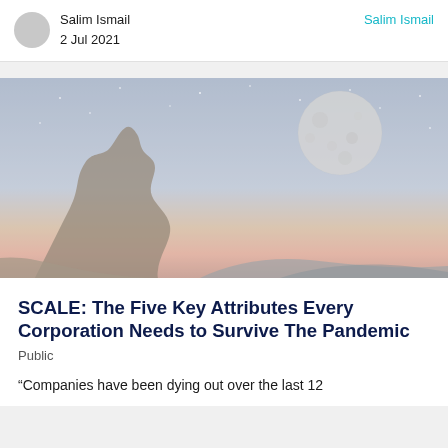Salim Ismail
2 Jul 2021
Salim Ismail
[Figure (illustration): A surreal illustration showing a rocky formation or creature silhouetted against a twilight sky with stars, reaching up toward a large moon or asteroid in the upper right. Warm orange and pink hues near the horizon fade to cool blue-grey sky with scattered stars.]
SCALE: The Five Key Attributes Every Corporation Needs to Survive The Pandemic Public
“Companies have been dying out over the last 12